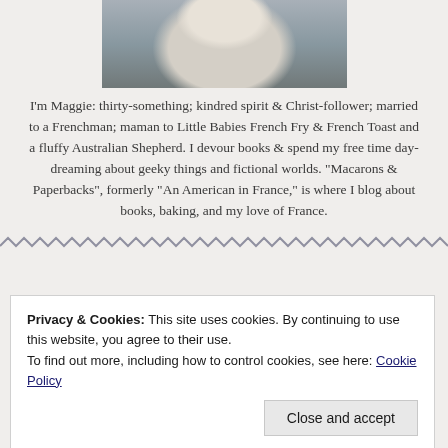[Figure (photo): Photo of a person (Maggie) standing outdoors wearing a light cardigan, with rocks and water in the background. Only the torso and lower face are visible.]
I'm Maggie: thirty-something; kindred spirit & Christ-follower; married to a Frenchman; maman to Little Babies French Fry & French Toast and a fluffy Australian Shepherd. I devour books & spend my free time day-dreaming about geeky things and fictional worlds. "Macarons & Paperbacks", formerly "An American in France," is where I blog about books, baking, and my love of France.
Privacy & Cookies: This site uses cookies. By continuing to use this website, you agree to their use.
To find out more, including how to control cookies, see here: Cookie Policy
Close and accept